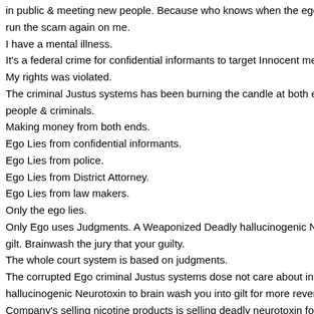in public & meeting new people. Because who knows when the ego could run the scam again on me.
I have a mental illness.
It's a federal crime for confidential informants to target Innocent me.
My rights was violated.
The criminal Justus systems has been burning the candle at both ends people & criminals.
Making money from both ends.
Ego Lies from confidential informants.
Ego Lies from police.
Ego Lies from District Attorney.
Ego Lies from law makers.
Only the ego lies.
Only Ego uses Judgments. A Weaponized Deadly hallucinogenic N gilt. Brainwash the jury that your guilty.
The whole court system is based on judgments.
The corrupted Ego criminal Justus systems dose not care about inf hallucinogenic Neurotoxin to brain wash you into gilt for more reve.
Company's selling nicotine products is selling deadly neurotoxin fo.
Lead & snake venom is a deadly neurotoxin also.